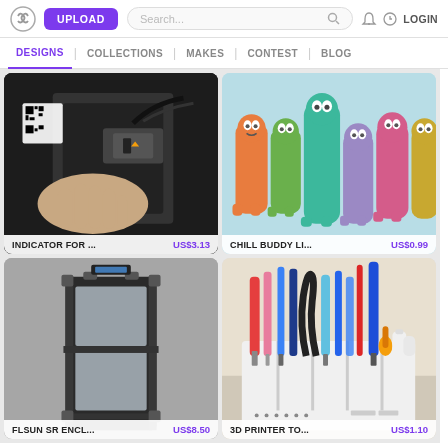UPLOAD | Search... | LOGIN
DESIGNS | COLLECTIONS | MAKES | CONTEST | BLOG
[Figure (photo): A hand adjusting a 3D printer head with a QR code visible on the machine]
INDICATOR FOR ...    US$3.13
[Figure (photo): Colorful anthropomorphic 3D-printed figures (Chill Buddy lighters) in orange, green, teal, pink, purple, and yellow]
CHILL BUDDY LI...    US$0.99
[Figure (photo): A 3D-printed enclosure for FLSUN SR, dark colored box with transparent panels]
FLSUN SR ENCL...    US$8.50
[Figure (photo): A white 3D-printed tool organizer holding screwdrivers, pens, and other tools]
3D PRINTER TO...    US$1.10